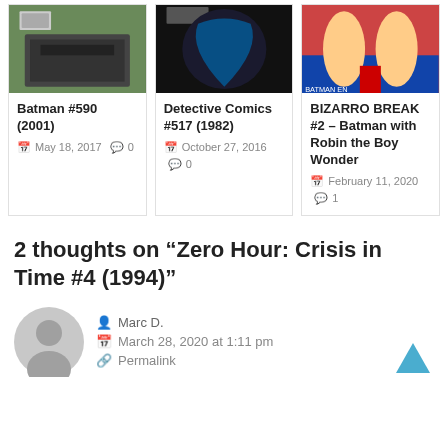[Figure (photo): Batman #590 (2001) comic book cover thumbnail]
Batman #590 (2001)
May 18, 2017  0
[Figure (photo): Detective Comics #517 (1982) comic book cover thumbnail]
Detective Comics #517 (1982)
October 27, 2016  0
[Figure (photo): BIZARRO BREAK #2 – Batman with Robin the Boy Wonder comic book cover thumbnail]
BIZARRO BREAK #2 – Batman with Robin the Boy Wonder
February 11, 2020  1
2 thoughts on “Zero Hour: Crisis in Time #4 (1994)”
Marc D.
March 28, 2020 at 1:11 pm
Permalink